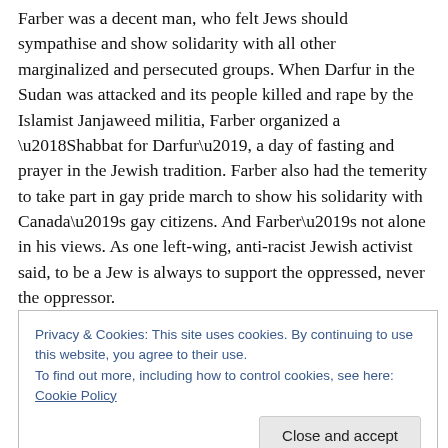Farber was a decent man, who felt Jews should sympathise and show solidarity with all other marginalized and persecuted groups. When Darfur in the Sudan was attacked and its people killed and rape by the Islamist Janjaweed militia, Farber organized a ‘Shabbat for Darfur’, a day of fasting and prayer in the Jewish tradition. Farber also had the temerity to take part in gay pride march to show his solidarity with Canada’s gay citizens. And Farber’s not alone in his views. As one left-wing, anti-racist Jewish activist said, to be a Jew is always to support the oppressed, never the oppressor.
Privacy & Cookies: This site uses cookies. By continuing to use this website, you agree to their use.
To find out more, including how to control cookies, see here: Cookie Policy